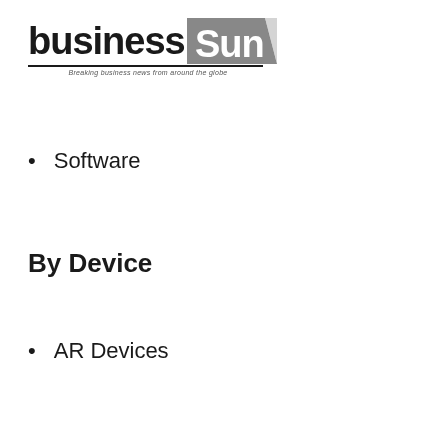businessSun — Breaking business news from around the globe
Software
By Device
AR Devices